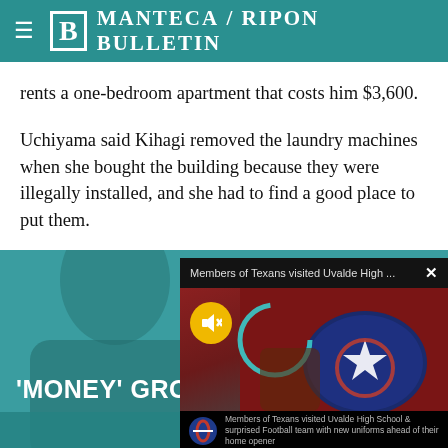Manteca / Ripon Bulletin
rents a one-bedroom apartment that costs him $3,600.
Uchiyama said Kihagi removed the laundry machines when she bought the building because they were illegally installed, and she had to find a good place to put them.
LATEST
[Figure (screenshot): News website screenshot showing 'MONEY GROWS O...' headline over teal background with person silhouette, overlaid by a video popup titled 'Members of Texans visited Uvalde High ...' showing a person holding a Houston Texans helmet, with a mute button and loading ring, and a bottom caption bar.]